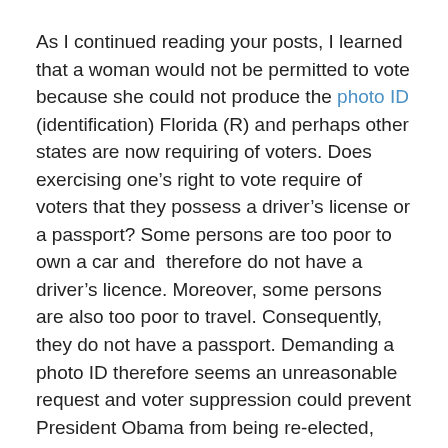As I continued reading your posts, I learned that a woman would not be permitted to vote because she could not produce the photo ID (identification) Florida (R) and perhaps other states are now requiring of voters.  Does exercising one’s right to vote require of voters that they possess a driver’s license or a passport?  Some persons are too poor to own a car and  therefore do not have a driver’s licence.  Moreover, some persons are also too poor to travel.  Consequently, they do not have a passport.  Demanding a photo ID therefore seems an unreasonable request and voter suppression could prevent President Obama from being re-elected, which would be a catastrophe.
This second incident, the photo ID (identification) incident, demonstrates that Voter Suppression is not only